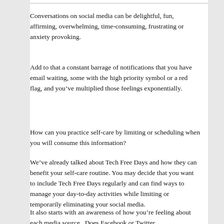[Figure (other): Top image bar/border from previous content]
Conversations on social media can be delightful, fun, affirming, overwhelming, time-consuming, frustrating or anxiety provoking.
Add to that a constant barrage of notifications that you have email waiting, some with the high priority symbol or a red flag, and you’ve multiplied those feelings exponentially.
How can you practice self-care by limiting or scheduling when you will consume this information?
We’ve already talked about Tech Free Days and how they can benefit your self-care routine. You may decide that you want to include Tech Free Days regularly and can find ways to manage your day-to-day activities while limiting or temporarily eliminating your social media.
It also starts with an awareness of how you’re feeling about each media source.  Does Facebook or Twitter